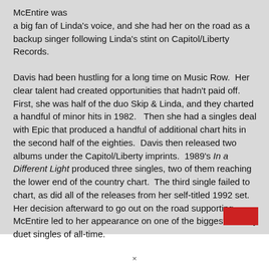McEntire was a big fan of Linda's voice, and she had her on the road as a backup singer following Linda's stint on Capitol/Liberty Records.
Davis had been hustling for a long time on Music Row.  Her clear talent had created opportunities that hadn't paid off.  First, she was half of the duo Skip & Linda, and they charted a handful of minor hits in 1982.   Then she had a singles deal with Epic that produced a handful of additional chart hits in the second half of the eighties.  Davis then released two albums under the Capitol/Liberty imprints.  1989's In a Different Light produced three singles, two of them reaching the lower end of the country chart.  The third single failed to chart, as did all of the releases from her self-titled 1992 set.  Her decision afterward to go out on the road supporting McEntire led to her appearance on one of the biggest country duet singles of all-time.
×